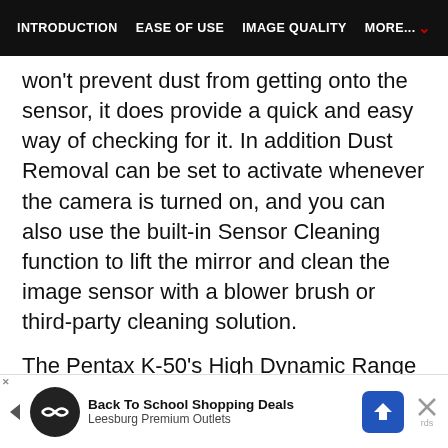INTRODUCTION   EASE OF USE   IMAGE QUALITY   MORE...
won't prevent dust from getting onto the sensor, it does provide a quick and easy way of checking for it. In addition Dust Removal can be set to activate whenever the camera is turned on, and you can also use the built-in Sensor Cleaning function to lift the mirror and clean the image sensor with a blower brush or third-party cleaning solution.
The Pentax K-50's High Dynamic Range (HDR) Capture option (only available for JPEGs) takes three images with different exposures, with 4 different...
[Figure (other): Advertisement banner for Back To School Shopping Deals at Leesburg Premium Outlets]